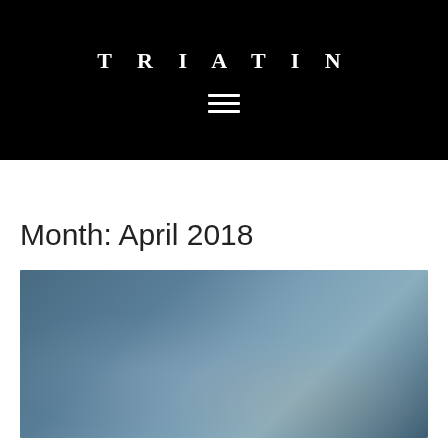TRIATIN
Month: April 2018
[Figure (photo): Blurred photo of a hand holding a pen over a notebook with handwritten notes, with a teal/blue color overlay]